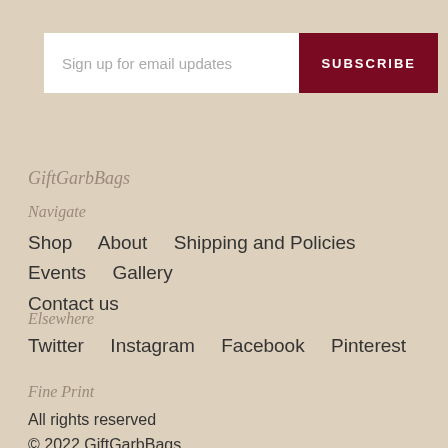Sign up for email updates  SUBSCRIBE
GiftGarbBags
Navigate
Shop
About
Shipping and Policies
Events
Gallery
Contact us
Elsewhere
Twitter
Instagram
Facebook
Pinterest
Fine Print
All rights reserved
© 2022 GiftGarbBags
Powered by Etsy